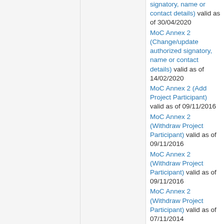MoC Annex 2 (Change/update authorized signatory, name or contact details) valid as of 30/04/2020
MoC Annex 2 (Change/update authorized signatory, name or contact details) valid as of 14/02/2020
MoC Annex 2 (Add Project Participant) valid as of 09/11/2016
MoC Annex 2 (Withdraw Project Participant) valid as of 09/11/2016
MoC Annex 2 (Withdraw Project Participant) valid as of 09/11/2016
MoC Annex 2 (Withdraw Project Participant) valid as of 07/11/2014
MoC Annex 2 (Change/update authorized